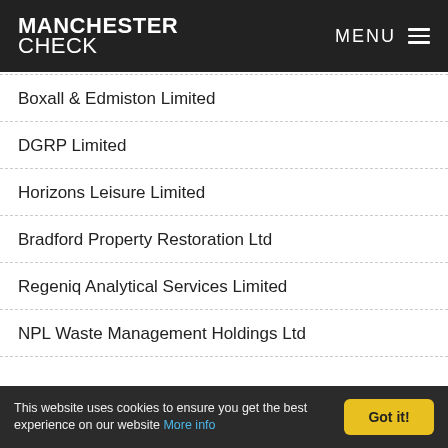MANCHESTER CHECK  MENU
Boxall & Edmiston Limited
DGRP Limited
Horizons Leisure Limited
Bradford Property Restoration Ltd
Regeniq Analytical Services Limited
NPL Waste Management Holdings Ltd
This website uses cookies to ensure you get the best experience on our website More info   Got it!